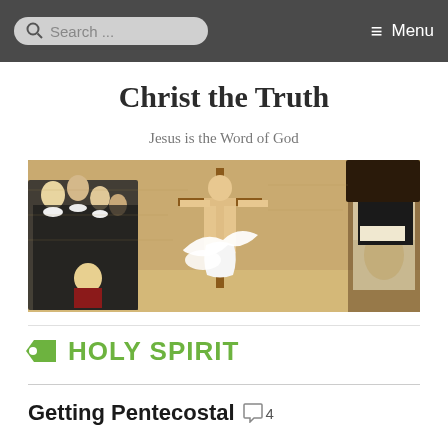Search ... Menu
Christ the Truth
Jesus is the Word of God
[Figure (photo): Religious painting of the crucifixion of Jesus Christ on the cross, with a dove/Holy Spirit depicted, a congregation of figures on the left, and a preacher at a pulpit on the right, set against a stone wall background.]
HOLY SPIRIT
Getting Pentecostal 4